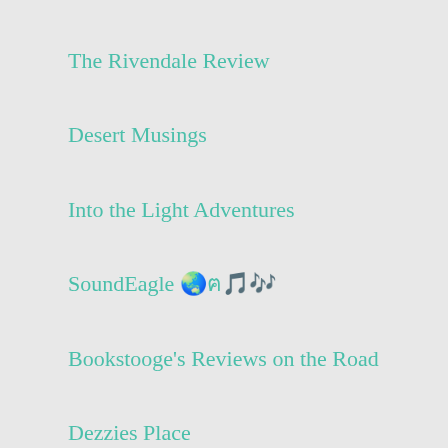The Rivendale Review
Desert Musings
Into the Light Adventures
SoundEagle 🌏ฅ🎵🎶
Bookstooge's Reviews on the Road
Dezzies Place
Courir écrire et crier
FranceSays